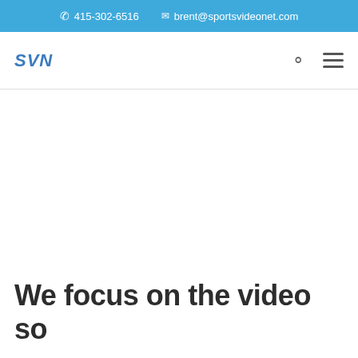415-302-6516  brent@sportsvideonet.com
[Figure (logo): SVN logo in blue italic text]
We focus on the video so